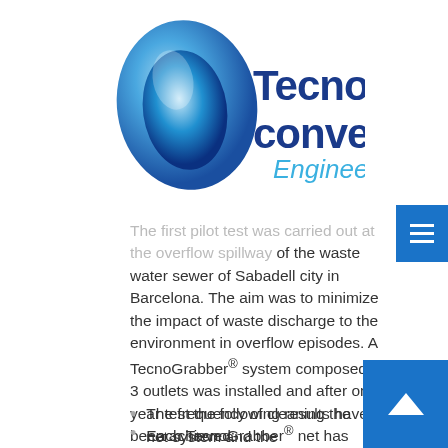[Figure (logo): TecnoConverting Engineering logo with blue 3D cone/funnel shape on left and company name in blue text on right]
The first pilot test was carried out at the overflow spillway of the waste water sewer of Sabadell city in Barcelona. The aim was to minimize the impact of waste discharge to the environment in overflow episodes. A TecnoGrabber® system composed by 3 outlets was installed and after one year test the following results have been achieved:
Each TecnoGrabber® net has captured/collected more than 100 kgr of residues.
In order to accumulate the 100 kgr of residues, it took 3-4 overflow periods.
The frequency of cleaning the net system and the